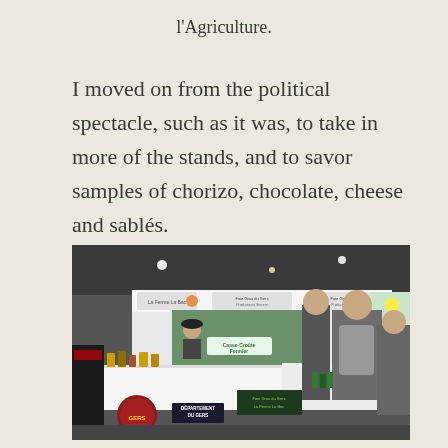l'Agriculture.
I moved on from the political spectacle, such as it was, to take in more of the stands, and to savor samples of chorizo, chocolate, cheese and sablés.
[Figure (photo): Indoor agricultural fair stand showing regional food products from Gers department, including foie gras and other specialty items. A vendor wears a beret behind the counter. Signs read 'Casse-Croûte Fermier', 'Foie Gras du Gers', 'Département du Gers'. People browsing in the background.]